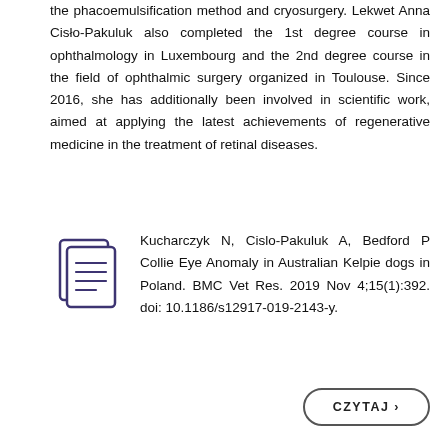the phacoemulsification method and cryosurgery. Lekwet Anna Cisło-Pakuluk also completed the 1st degree course in ophthalmology in Luxembourg and the 2nd degree course in the field of ophthalmic surgery organized in Toulouse. Since 2016, she has additionally been involved in scientific work, aimed at applying the latest achievements of regenerative medicine in the treatment of retinal diseases.
Kucharczyk N, Cislo-Pakuluk A, Bedford P Collie Eye Anomaly in Australian Kelpie dogs in Poland. BMC Vet Res. 2019 Nov 4;15(1):392. doi: 10.1186/s12917-019-2143-y.
CZYTAJ ›